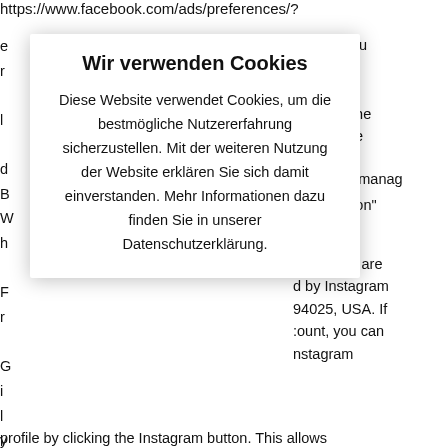https://www.facebook.com/ads/preferences/?
do this, you
you can
tising on the
ng Alliance
/praferenzmanag
'Like-Button"
Instagram are d by Instagram 94025, USA. If :ount, you can nstagram
[Figure (screenshot): Cookie consent modal dialog overlay with title 'Wir verwenden Cookies' and body text in German about cookie usage policy]
Wir verwenden Cookies
Diese Website verwendet Cookies, um die bestmögliche Nutzererfahrung sicherzustellen. Mit der weiteren Nutzung der Website erklären Sie sich damit einverstanden. Mehr Informationen dazu finden Sie in unserer Datenschutzerklärung.
profile by clicking the Instagram button. This allows